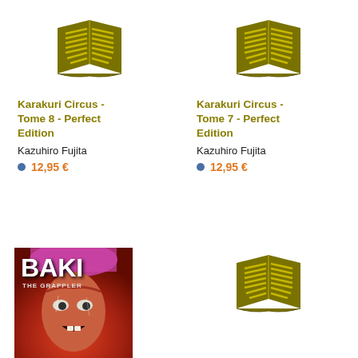[Figure (illustration): Open book icon in olive/dark yellow color]
Karakuri Circus - Tome 8 - Perfect Edition
Kazuhiro Fujita
12,95 €
[Figure (illustration): Open book icon in olive/dark yellow color]
Karakuri Circus - Tome 7 - Perfect Edition
Kazuhiro Fujita
12,95 €
[Figure (photo): Baki the Grappler manga cover showing a character with pink hair and intense expression]
[Figure (illustration): Open book icon in olive/dark yellow color]